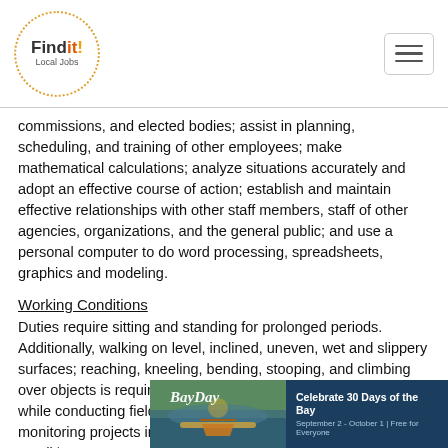Findit! Local Jobs
commissions, and elected bodies; assist in planning, scheduling, and training of other employees; make mathematical calculations; analyze situations accurately and adopt an effective course of action; establish and maintain effective relationships with other staff members, staff of other agencies, organizations, and the general public; and use a personal computer to do word processing, spreadsheets, graphics and modeling.
Working Conditions
Duties require sitting and standing for prolonged periods. Additionally, walking on level, inclined, uneven, wet and slippery surfaces; reaching, kneeling, bending, stooping, and climbing over objects is required in the performance of routine duties while conducting field work. The incumbent may, while monitoring projects in the field, be subjected to all weather condi... and f... dust
[Figure (photo): BayDay advertisement banner: photo of kayaker on bay waterway with text 'Celebrate 30 Days of the Bay, September 2 - October 1 | Free for Everyone']